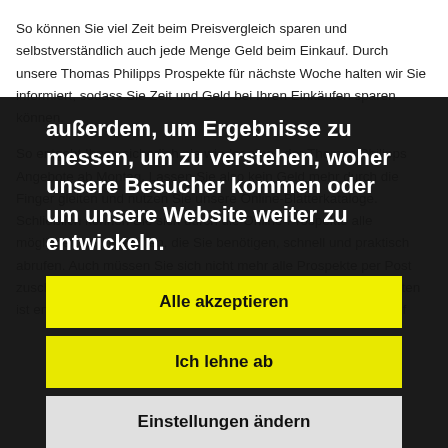So können Sie viel Zeit beim Preisvergleich sparen und selbstverständlich auch jede Menge Geld beim Einkauf. Durch unsere Thomas Philipps Prospekte für nächste Woche halten wir Sie informiert, sodass Sie Zeit und Geld bei Ihren Einkäufen sparen können.
So entgeht Ihnen sicherlich nie wieder eines der Thomas Philipps Angebote ab Montag. Lassen Sie also kein Geld mehr durch die Finger gleiten und nutzen Sie unsere Online-Blätterkataloge. Schließlich können Sie sich durch die Online-Prospekte alle möglichen Informationen, die Sie benötigen, schnell und praktisch abrufen. Auch müssen Sie sich nicht mehr alle Prospekte per Post zuschicken lassen. Dank den digitalen Thomas Philipps Prospekten ist endlich Schluss mit überfüllten Briefkästen und bleiben Sie auf
außerdem, um Ergebnisse zu messen, um zu verstehen, woher unsere Besucher kommen oder um unsere Website weiter zu entwickeln.
Alle akzeptieren
Ich lehne ab
Einstellungen ändern